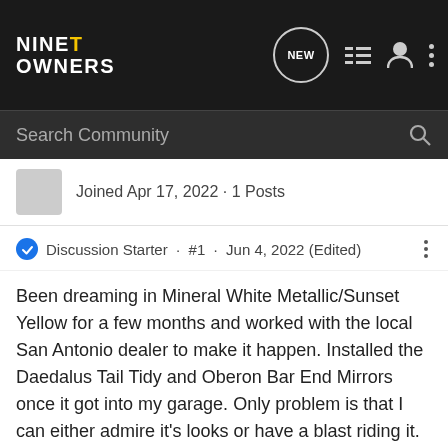NINE T OWNERS — navigation bar with NEW, list, user, and more icons
Search Community
Joined Apr 17, 2022 · 1 Posts
Discussion Starter · #1 · Jun 4, 2022 (Edited)
Been dreaming in Mineral White Metallic/Sunset Yellow for a few months and worked with the local San Antonio dealer to make it happen. Installed the Daedalus Tail Tidy and Oberon Bar End Mirrors once it got into my garage. Only problem is that I can either admire it's looks or have a blast riding it. Hard to do both at the same time!
[Figure (photo): Partial image placeholder (light gray), likely a motorcycle photo]